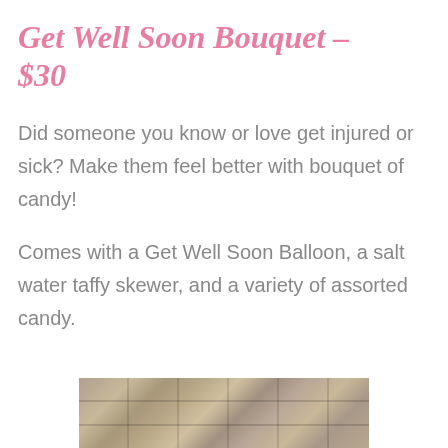Get Well Soon Bouquet - $30
Did someone you know or love get injured or sick? Make them feel better with bouquet of candy!
Comes with a Get Well Soon Balloon, a salt water taffy skewer, and a variety of assorted candy.
[Figure (photo): Stone/brick wall texture photo at the bottom of the page]